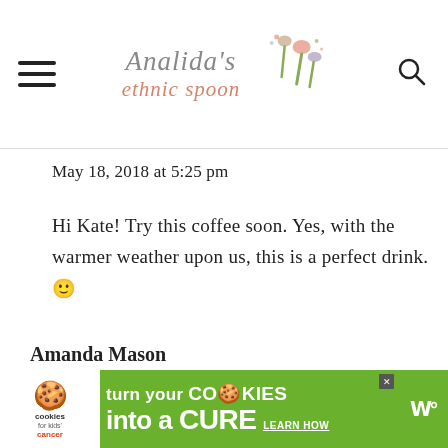Analida's ethnic spoon
May 18, 2018 at 5:25 pm
Hi Kate! Try this coffee soon. Yes, with the warmer weather upon us, this is a perfect drink. 🙂
REPLY
Amanda Mason
[Figure (infographic): Advertisement banner: 'cookies for kids cancer — turn your COOKIES into a CURE LEARN HOW' on green background with cookie logo and close button]